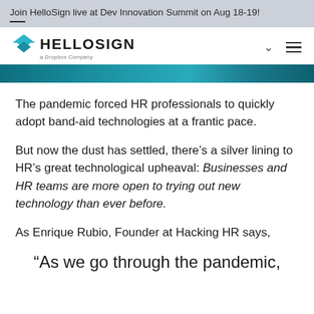Join HelloSign live at Dev Innovation Summit on Aug 18-19!
[Figure (logo): HelloSign logo - a Dropbox Company, with teal downward chevron/triangle icon]
[Figure (photo): Teal/dark turquoise hero banner image strip]
The pandemic forced HR professionals to quickly adopt band-aid technologies at a frantic pace.
But now the dust has settled, there's a silver lining to HR's great technological upheaval: Businesses and HR teams are more open to trying out new technology than ever before.
As Enrique Rubio, Founder at Hacking HR says,
“As we go through the pandemic,